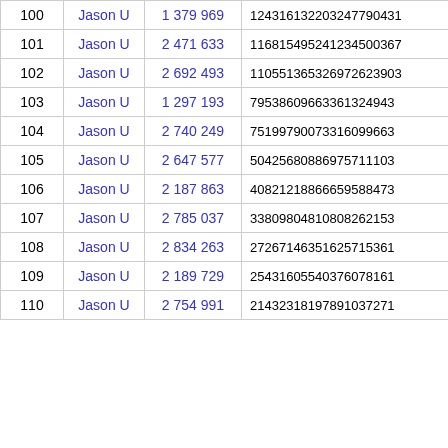|  | User | Score | Hash | Len |  |
| --- | --- | --- | --- | --- | --- |
| 100 | Jason U | 1 379 969 | 124316132203247790431 | 21 | 6 |
| 101 | Jason U | 2 471 633 | 116815495241234500367 | 21 | 6 |
| 102 | Jason U | 2 692 493 | 110551365326972623903 | 21 | 6 |
| 103 | Jason U | 1 297 193 | 79538609663361324943 | 20 | 6 |
| 104 | Jason U | 2 740 249 | 75199790073316099663 | 20 | 6 |
| 105 | Jason U | 2 647 577 | 50425680886975711103 | 20 | 6 |
| 106 | Jason U | 2 187 863 | 40821218866659588473 | 20 | 6 |
| 107 | Jason U | 2 785 037 | 33809804810808262153 | 20 | 6 |
| 108 | Jason U | 2 834 263 | 27267146351625715361 | 20 | 6 |
| 109 | Jason U | 2 189 729 | 25431605540376078161 | 20 | 6 |
| 110 | Jason U | 2 754 991 | 21432318197891037271 | 20 | 6 |